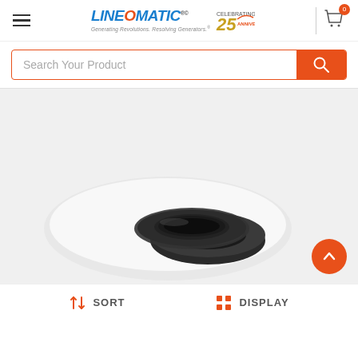LineOmatic - Generating Revolutions. Resolving Generators. 25 Anniversary
Search Your Product
[Figure (photo): Close-up photo of a black rubber/plastic ring seal or gasket product on a white background, viewed from above at a slight angle. The ring is circular with a dark matte finish.]
SORT   DISPLAY